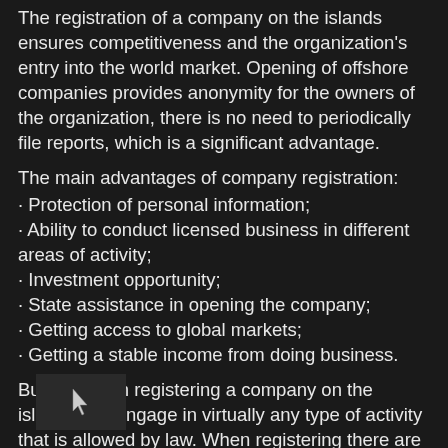The registration of a company on the islands ensures competitiveness and the organization's entry into the world market. Opening of offshore companies provides anonymity for the owners of the organization, there is no need to periodically file reports, which is a significant advantage.
The main advantages of company registration:
· Protection of personal information;
· Ability to conduct licensed business in different areas of activity;
· Investment opportunity;
· State assistance in opening the company;
· Getting access to global markets;
· Getting a stable income from doing business.
Businessmen registering a company on the islands can engage in virtually any type of activity that is allowed by law. When registering there are no strict requirements for the size of the share capital, there is no exchange control.
If you have the appropriate license, you can engage in